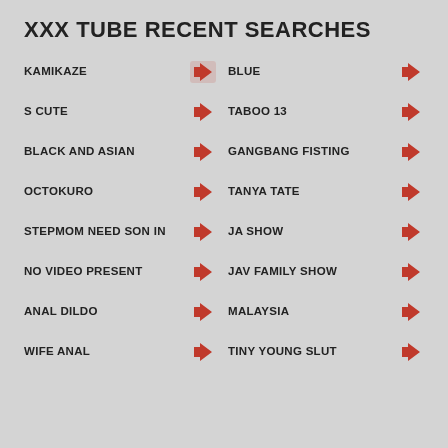XXX TUBE RECENT SEARCHES
KAMIKAZE
BLUE
S CUTE
TABOO 13
BLACK AND ASIAN
GANGBANG FISTING
OCTOKURO
TANYA TATE
STEPMOM NEED SON IN
JA SHOW
NO VIDEO PRESENT
JAV FAMILY SHOW
ANAL DILDO
MALAYSIA
WIFE ANAL
TINY YOUNG SLUT